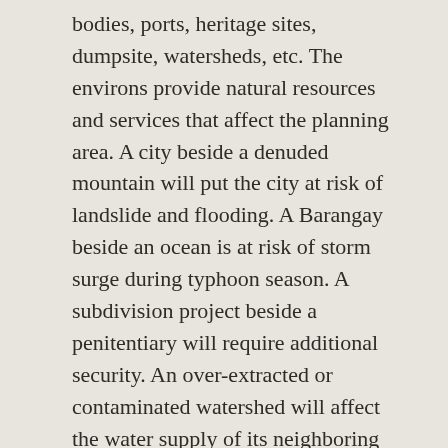bodies, ports, heritage sites, dumpsite, watersheds, etc. The environs provide natural resources and services that affect the planning area. A city beside a denuded mountain will put the city at risk of landslide and flooding. A Barangay beside an ocean is at risk of storm surge during typhoon season. A subdivision project beside a penitentiary will require additional security. An over-extracted or contaminated watershed will affect the water supply of its neighboring towns and cities. Urban Planners plan not only their planning areas but also plans in relation to its environment.